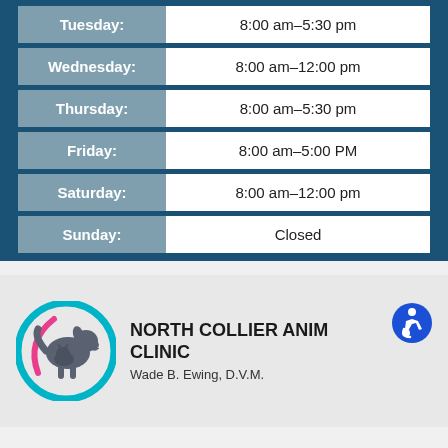| Day | Hours |
| --- | --- |
| Tuesday: | 8:00 am–5:30 pm |
| Wednesday: | 8:00 am–12:00 pm |
| Thursday: | 8:00 am–5:30 pm |
| Friday: | 8:00 am–5:00 PM |
| Saturday: | 8:00 am–12:00 pm |
| Sunday: | Closed |
[Figure (logo): North Collier Animal Clinic circular logo with teal and pink ring and silhouette of dog and cat]
NORTH COLLIER ANIMAL CLINIC
Wade B. Ewing, D.V.M.